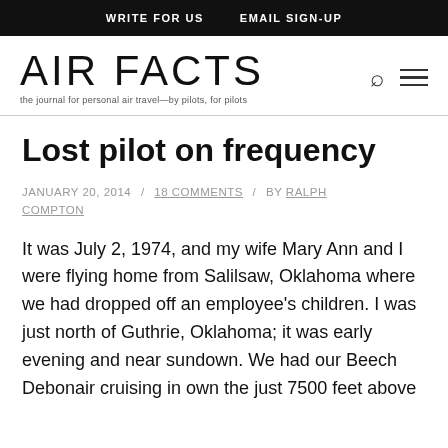WRITE FOR US   EMAIL SIGN-UP
AIR FACTS
the journal for personal air travel—by pilots, for pilots
Lost pilot on frequency
JANUARY 20, 2014 / 18 COMMENTS / BY RALPH COMPTON
It was July 2, 1974, and my wife Mary Ann and I were flying home from Salilsaw, Oklahoma where we had dropped off an employee's children. I was just north of Guthrie, Oklahoma; it was early evening and near sundown. We had our Beech Debonair cruising in own the just 7500 feet above